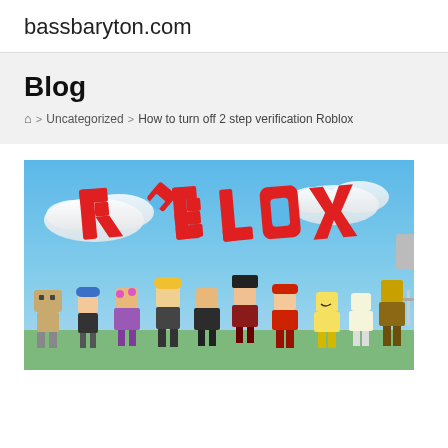bassbaryton.com
Blog
Home > Uncategorized > How to turn off 2 step verification Roblox
[Figure (illustration): Roblox logo with the word ROBLOX in large red letters on a blue sky background, with various Roblox character avatars standing below the logo.]